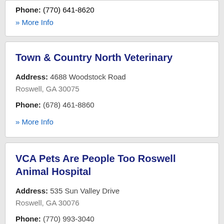Phone: (770) 641-8620
» More Info
Town & Country North Veterinary
Address: 4688 Woodstock Road Roswell, GA 30075
Phone: (678) 461-8860
» More Info
VCA Pets Are People Too Roswell Animal Hospital
Address: 535 Sun Valley Drive Roswell, GA 30076
Phone: (770) 993-3040